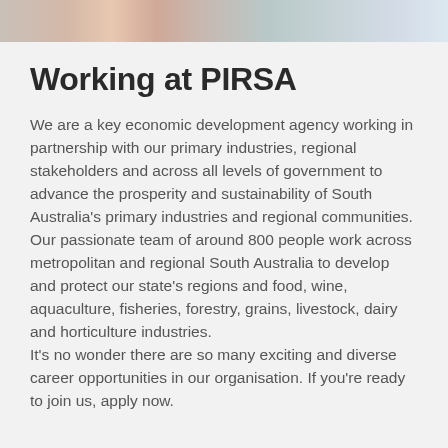[Figure (photo): Cropped top portion of a photo showing people, partially visible at the top of the page]
Working at PIRSA
We are a key economic development agency working in partnership with our primary industries, regional stakeholders and across all levels of government to advance the prosperity and sustainability of South Australia's primary industries and regional communities.
Our passionate team of around 800 people work across metropolitan and regional South Australia to develop and protect our state's regions and food, wine, aquaculture, fisheries, forestry, grains, livestock, dairy and horticulture industries.
It's no wonder there are so many exciting and diverse career opportunities in our organisation. If you're ready to join us, apply now.